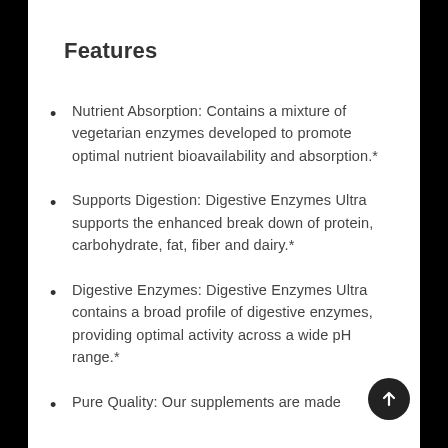Features
Nutrient Absorption: Contains a mixture of vegetarian enzymes developed to promote optimal nutrient bioavailability and absorption.*
Supports Digestion: Digestive Enzymes Ultra supports the enhanced break down of protein, carbohydrate, fat, fiber and dairy.*
Digestive Enzymes: Digestive Enzymes Ultra contains a broad profile of digestive enzymes, providing optimal activity across a wide pH range.*
Pure Quality: Our supplements are made